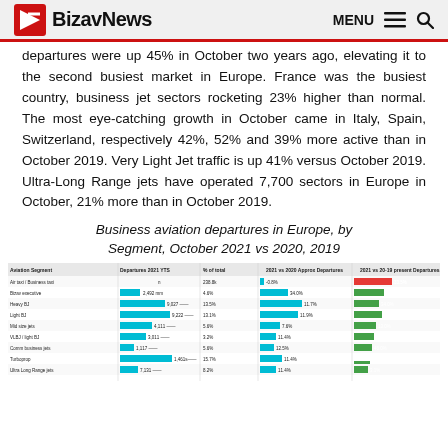BizavNews | MENU (hamburger) | Search
departures were up 45% in October two years ago, elevating it to the second busiest market in Europe. France was the busiest country, business jet sectors rocketing 23% higher than normal. The most eye-catching growth in October came in Italy, Spain, Switzerland, respectively 42%, 52% and 39% more active than in October 2019. Very Light Jet traffic is up 41% versus October 2019. Ultra-Long Range jets have operated 7,700 sectors in Europe in October, 21% more than in October 2019.
Business aviation departures in Europe, by Segment, October 2021 vs 2020, 2019
[Figure (table-as-image): Table showing Business aviation departures in Europe by Segment, October 2021 vs 2020 and 2019, with colored bar indicators]